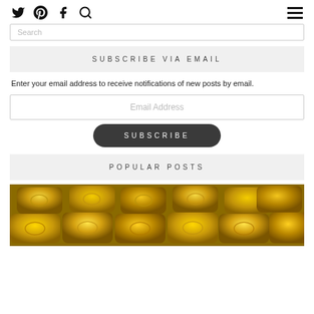Social icons: Twitter, Pinterest, Facebook, Search; Hamburger menu
Search
SUBSCRIBE VIA EMAIL
Enter your email address to receive notifications of new posts by email.
Email Address
SUBSCRIBE
POPULAR POSTS
[Figure (photo): Pile of gold bars/ingots photographed from above]